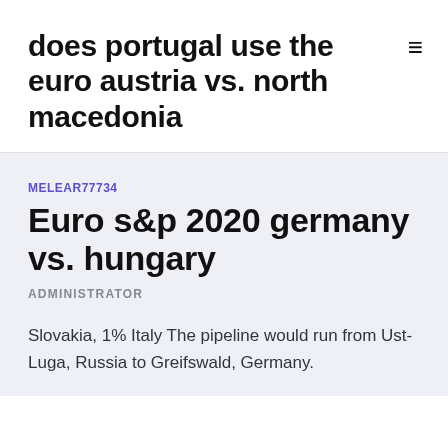does portugal use the euro austria vs. north macedonia
MELEAR77734
Euro s&p 2020 germany vs. hungary
ADMINISTRATOR
Slovakia, 1% Italy The pipeline would run from Ust-Luga, Russia to Greifswald, Germany.